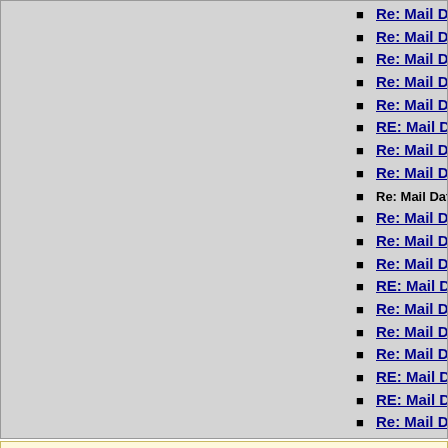Re: Mail Data termination, Alessandr
Re: Mail Data termination, John C Kl
Re: Mail Data termination, Paul Smith
Re: Mail Data termination, Bill McQui
Re: Mail Data termination, John C Kle
RE: Mail Data termination, Murray S.
Re: Mail Data termination, Peter J. H
Re: Mail Data termination, Hector Sa
Re: Mail Data termination, Peter J. H
Re: Mail Data termination, Peter J. H
Re: Mail Data termination, Hector Sa
Re: Mail Data termination, Hector Sa
RE: Mail Data termination, Murray S.
Re: Mail Data termination, Hector Sa
Re: Mail Data termination, Paul Smith
Re: Mail Data termination, Hector Sa
RE: Mail Data termination, Murray S.
RE: Mail Data termination, ned+ietf-s
Re: Mail Data termination, Arnt Gulbr
Previous by Date: Re: productivity?, Paul Smith
Next by Date: Re: productivity?, Hector Santos
Previous by Thread: Re: Mail Data termination, Hector Santos
Next by Thread: Re: Mail Data termination, Peter J. Holzer
Indexes: [Date] [Thread] [Top] [All Lists]